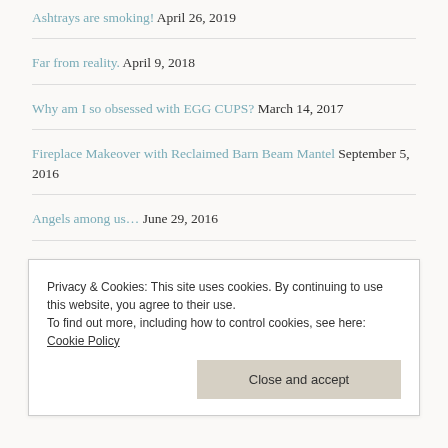Ashtrays are smoking! April 26, 2019
Far from reality. April 9, 2018
Why am I so obsessed with EGG CUPS? March 14, 2017
Fireplace Makeover with Reclaimed Barn Beam Mantel September 5, 2016
Angels among us… June 29, 2016
Nativities and Nudies March 8, 2016
Jav doll rescued from Savern gets a makeover in Thailand February…
Privacy & Cookies: This site uses cookies. By continuing to use this website, you agree to their use. To find out more, including how to control cookies, see here: Cookie Policy Close and accept